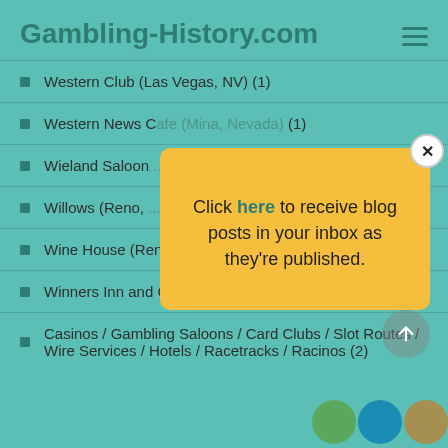Gambling-History.com
Western Club (Las Vegas, NV) (1)
Western News C... (1)
Wieland Saloon...
Willows (Reno, ...
Wine House (Reno, NV) (1)
Winners Inn and Casino (Winnemucca, NV) (1)
Casinos / Gambling Saloons / Card Clubs / Slot Routes / Wire Services / Hotels / Racetracks / Racinos (2)
[Figure (screenshot): Popup modal with yellow background reading: Click here to receive blog posts in your inbox as they're published. Has an X close button in top right corner.]